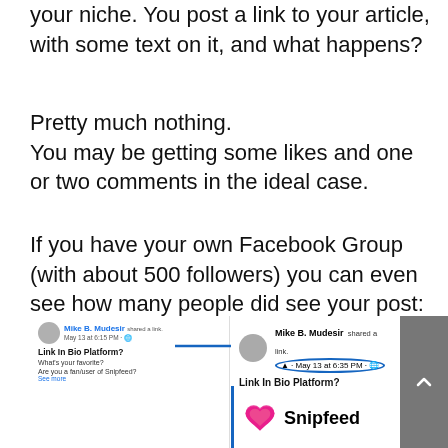your niche. You post a link to your article, with some text on it, and what happens?
Pretty much nothing.
You may be getting some likes and one or two comments in the ideal case.
If you have your own Facebook Group (with about 500 followers) you can even see how many people did see your post:
[Figure (screenshot): Facebook group post screenshot showing Mike B. Mudesir sharing a link titled 'Link In Bio Platform?' with Snipfeed content visible, and an arrow pointing to the post on the right side.]